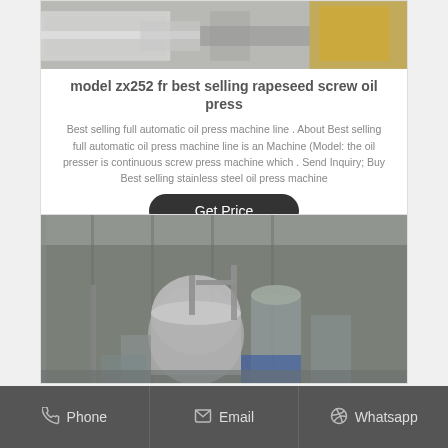[Figure (photo): Industrial oil press machine, partial view at top of page]
model zx252 fr best selling rapeseed screw oil press
Best selling full automatic oil press machine line . About Best selling full automatic oil press machine line is an Machine (Model: the oil presser is continuous screw press machine which . Send Inquiry; Buy Best selling stainless steel oil press machine
[Figure (photo): Industrial oil processing plant interior with stainless steel tanks and machinery]
Phone   Email   Whatsapp